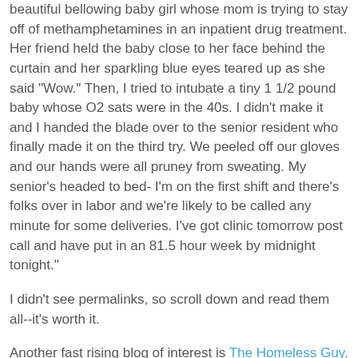beautiful bellowing baby girl whose mom is trying to stay off of methamphetamines in an inpatient drug treatment. Her friend held the baby close to her face behind the curtain and her sparkling blue eyes teared up as she said "Wow." Then, I tried to intubate a tiny 1 1/2 pound baby whose O2 sats were in the 40s. I didn't make it and I handed the blade over to the senior resident who finally made it on the third try. We peeled off our gloves and our hands were all pruney from sweating. My senior's headed to bed- I'm on the first shift and there's folks over in labor and we're likely to be called any minute for some deliveries. I've got clinic tomorrow post call and have put in an 81.5 hour week by midnight tonight."
I didn't see permalinks, so scroll down and read them all--it's worth it.
Another fast rising blog of interest is The Homeless Guy, which chronicles the challenges and warmspots of a homeless weblogger in (I think) Nashville.
There's also excellent writing on HotMud.